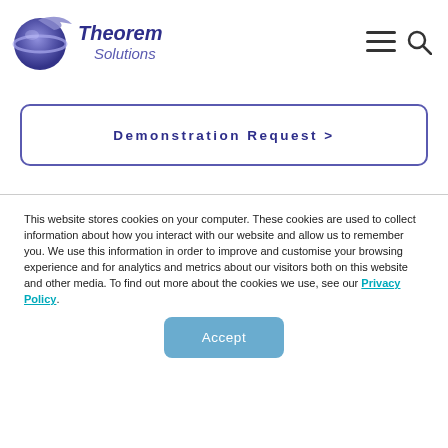[Figure (logo): Theorem Solutions logo with globe graphic and italic text]
Demonstration Request >
This website stores cookies on your computer. These cookies are used to collect information about how you interact with our website and allow us to remember you. We use this information in order to improve and customise your browsing experience and for analytics and metrics about our visitors both on this website and other media. To find out more about the cookies we use, see our Privacy Policy.
Accept